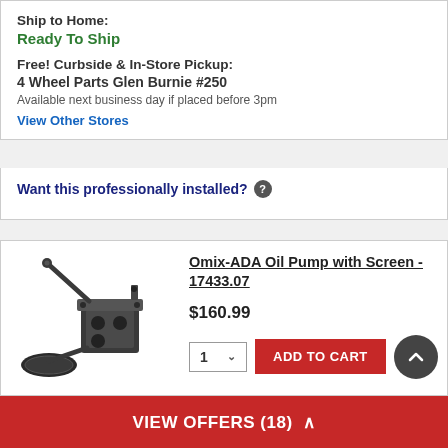Ship to Home:
Ready To Ship
Free! Curbside & In-Store Pickup:
4 Wheel Parts Glen Burnie #250
Available next business day if placed before 3pm
View Other Stores
Want this professionally installed? ?
[Figure (photo): Omix-ADA Oil Pump with Screen product photo showing oil pump assembly with screen tube]
Omix-ADA Oil Pump with Screen - 17433.07
$160.99
1 ∨  ADD TO CART
VIEW OFFERS (18) ^